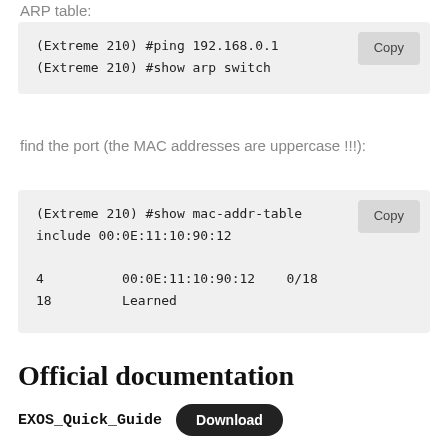ARP table:
(Extreme 210) #ping 192.168.0.1
(Extreme 210) #show arp switch
find the port (the MAC addresses are uppercase !!):
(Extreme 210) #show mac-addr-table include 00:0E:11:10:90:12

4          00:0E:11:10:90:12    0/18
18         Learned
Official documentation
EXOS_Quick_Guide
Download